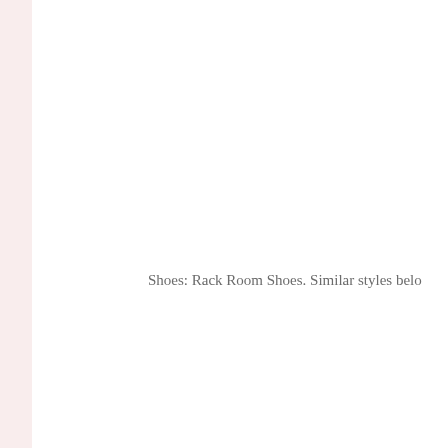Shoes: Rack Room Shoes. Similar styles belo